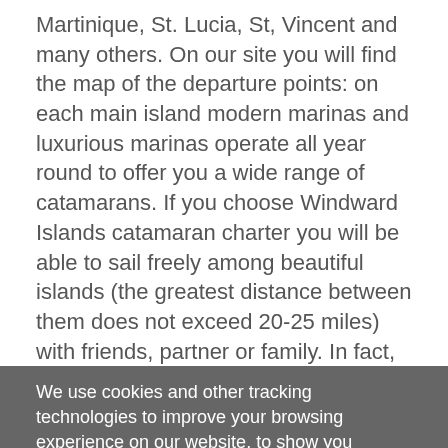Martinique, St. Lucia, St, Vincent and many others. On our site you will find the map of the departure points: on each main island modern marinas and luxurious marinas operate all year round to offer you a wide range of catamarans. If you choose Windward Islands catamaran charter you will be able to sail freely among beautiful islands (the greatest distance between them does not exceed 20-25 miles) with friends, partner or family. In fact, these places are also suitable for children and the elderly, with the possibility of navigating safely, mooring in the marina or anchoring in the countless protected bays. Many activities related to the sea, such as snorkeling, diving, wind-surfing and kyte-surfing but also relaxation. Golden or white beaches fringed with coconut palms and banana trees, coral reefs where you can see colorful fish, or relax with a cocktail in an exclusive resort, or, even better, on
We use cookies and other tracking technologies to improve your browsing experience on our website, to show you personalized content and targeted